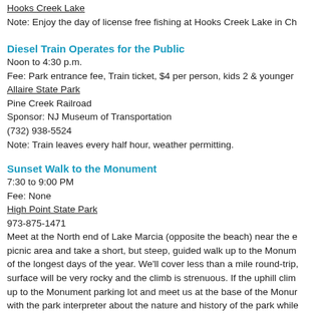Hooks Creek Lake
Note: Enjoy the day of license free fishing at Hooks Creek Lake in Ch
Diesel Train Operates for the Public
Noon to 4:30 p.m.
Fee: Park entrance fee, Train ticket, $4 per person, kids 2 & younger
Allaire State Park
Pine Creek Railroad
Sponsor: NJ Museum of Transportation
(732) 938-5524
Note: Train leaves every half hour, weather permitting.
Sunset Walk to the Monument
7:30 to 9:00 PM
Fee: None
High Point State Park
973-875-1471
Meet at the North end of Lake Marcia (opposite the beach) near the e picnic area and take a short, but steep, guided walk up to the Monum of the longest days of the year. We'll cover less than a mile round-trip, surface will be very rocky and the climb is strenuous. If the uphill clim up to the Monument parking lot and meet us at the base of the Monur with the park interpreter about the nature and history of the park while
June 8 (Rain date June 9)
TOUCH OF ENGLAND VINTAGE BRITISH AUTOMOBILE A
9AM-4PM
Fee: $6 per adults; $4 for children 6-12, and free for children under 6.
The Hermitage Museum
201-445-8311 x 102